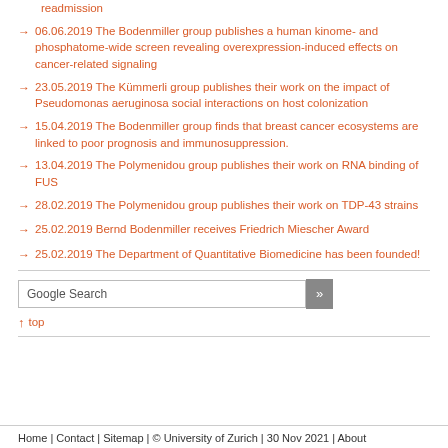readmission
06.06.2019 The Bodenmiller group publishes a human kinome- and phosphatome-wide screen revealing overexpression-induced effects on cancer-related signaling
23.05.2019 The Kümmerli group publishes their work on the impact of Pseudomonas aeruginosa social interactions on host colonization
15.04.2019 The Bodenmiller group finds that breast cancer ecosystems are linked to poor prognosis and immunosuppression.
13.04.2019 The Polymenidou group publishes their work on RNA binding of FUS
28.02.2019 The Polymenidou group publishes their work on TDP-43 strains
25.02.2019 Bernd Bodenmiller receives Friedrich Miescher Award
25.02.2019 The Department of Quantitative Biomedicine has been founded!
Google Search
↑ top
Home | Contact | Sitemap | © University of Zurich | 30 Nov 2021 | About